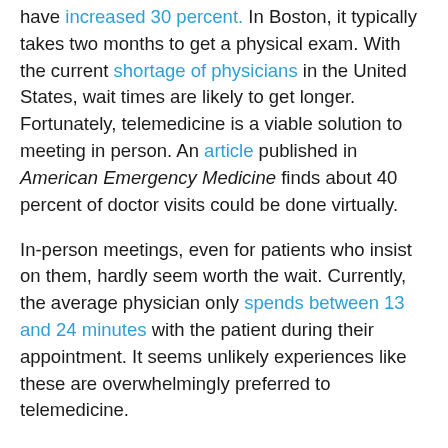have increased 30 percent. In Boston, it typically takes two months to get a physical exam. With the current shortage of physicians in the United States, wait times are likely to get longer. Fortunately, telemedicine is a viable solution to meeting in person. An article published in American Emergency Medicine finds about 40 percent of doctor visits could be done virtually.
In-person meetings, even for patients who insist on them, hardly seem worth the wait. Currently, the average physician only spends between 13 and 24 minutes with the patient during their appointment. It seems unlikely experiences like these are overwhelmingly preferred to telemedicine.
Considering the benefits telemedicine provides consumers and producers, as well as the alternatives, it seems telemedicine already plays an important and dynamic role in